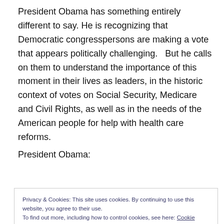President Obama has something entirely different to say. He is recognizing that Democratic congresspersons are making a vote that appears politically challenging.   But he calls on them to understand the importance of this moment in their lives as leaders, in the historic context of votes on Social Security, Medicare and Civil Rights, as well as in the needs of the American people for help with health care reforms.
President Obama:
Privacy & Cookies: This site uses cookies. By continuing to use this website, you agree to their use. To find out more, including how to control cookies, see here: Cookie Policy
under.  I get a few comments made about me.  I don't